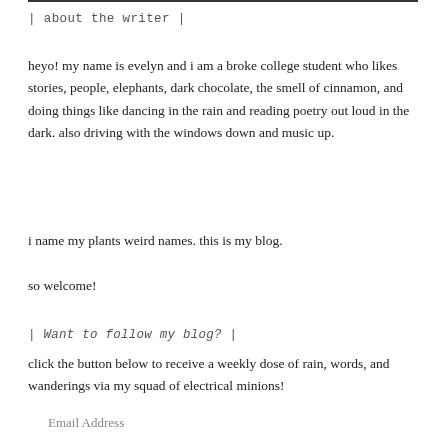| about the writer |
heyo! my name is evelyn and i am a broke college student who likes stories, people, elephants, dark chocolate, the smell of cinnamon, and doing things like dancing in the rain and reading poetry out loud in the dark. also driving with the windows down and music up.
i name my plants weird names. this is my blog.
so welcome!
| Want to follow my blog? |
click the button below to receive a weekly dose of rain, words, and wanderings via my squad of electrical minions!
Email Address